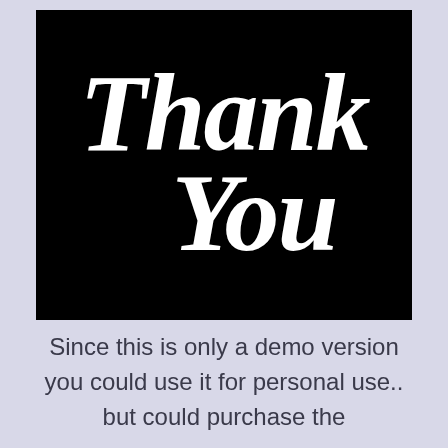[Figure (illustration): Black background image with white cursive/script lettering reading 'Thank You']
Since this is only a demo version you could use it for personal use.. but could purchase the